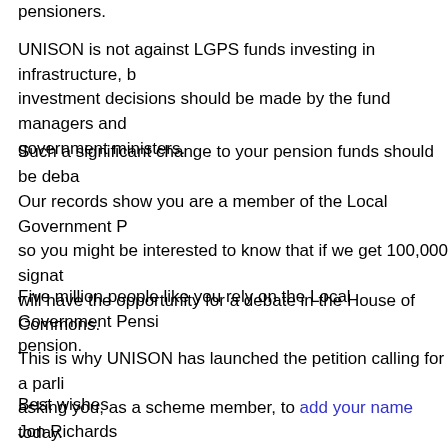pensioners.
UNISON is not against LGPS funds investing in infrastructure, b investment decisions should be made by the fund managers and government ministers.
Such a significant change to your pension funds should be deba
Our records show you are a member of the Local Government P so you might be interested to know that if we get 100,000 signat will have the opportunity for a debate in the House of Commons.
Five million people like you rely on the Local Government Pensi pension.
This is why UNISON has launched the petition calling for a parli asking you, as a scheme member, to add your name today.
Best wishes
Jon Richards
UNISON national secretary (pensions)